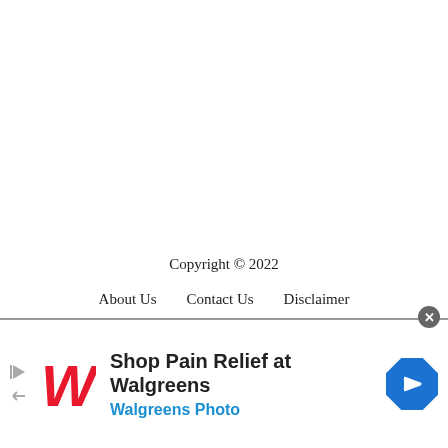Copyright © 2022
About Us   Contact Us   Disclaimer
[Figure (infographic): Walgreens advertisement banner: 'Shop Pain Relief at Walgreens' with Walgreens logo and Walgreens Photo text, plus navigation arrow icon and close button]